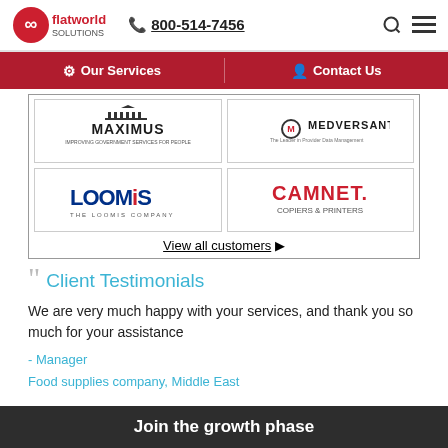flatworld solutions | 800-514-7456
[Figure (logo): Navigation bar with Our Services and Contact Us links on red background]
[Figure (logo): MAXIMUS company logo]
[Figure (logo): Medversant logo]
[Figure (logo): Loomis - The Loomis Company logo]
[Figure (logo): CAMNET Copiers & Printers logo]
View all customers ▶
Client Testimonials
We are very much happy with your services, and thank you so much for your assistance
- Manager
Food supplies company, Middle East
Join the growth phase